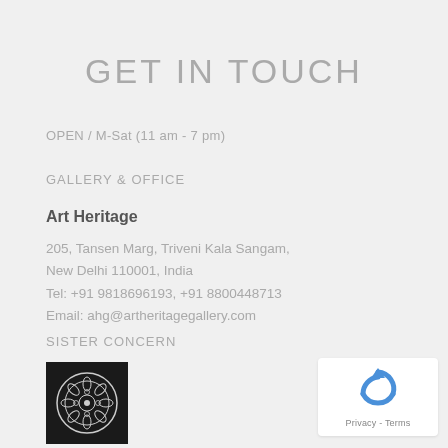GET IN TOUCH
OPEN / M-Sat (11 am - 7 pm)
GALLERY & OFFICE
Art Heritage
205, Tansen Marg, Triveni Kala Sangam,
New Delhi 110001, India
Tel: +91 9818696193, +91 8800448713
Email: ahg@artheritagegallery.com
SISTER CONCERN
[Figure (logo): The Alkazi Foundation for the Arts logo - circular ornamental design on black square background]
The Alkazi Foundation
for the Arts
[Figure (logo): reCAPTCHA widget with Privacy and Terms links]